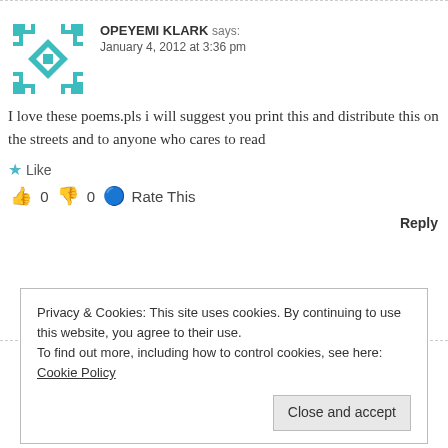[Figure (logo): Teal/cyan geometric avatar icon with cross and diamond pattern]
OPEYEMI KLARK says:
January 4, 2012 at 3:36 pm
I love these poems.pls i will suggest you print this and distribute this on the streets and to anyone who cares to read
Like
0  0  Rate This
Reply
Privacy & Cookies: This site uses cookies. By continuing to use this website, you agree to their use.
To find out more, including how to control cookies, see here: Cookie Policy
Close and accept